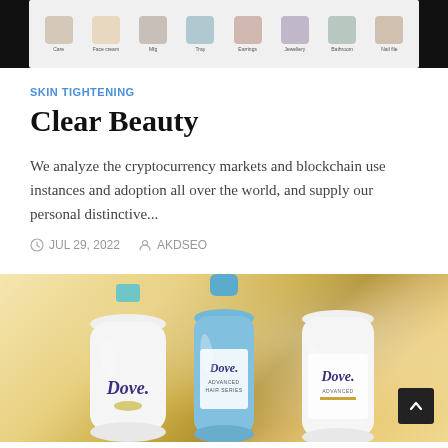[Figure (screenshot): Top navigation bar screenshot of a beauty/care shopping interface showing categories like Care, Face cream, Mfg, Tray, Earrings, Jewellery, Bathroom, Nail file on a dark background]
SKIN TIGHTENING
Clear Beauty
We analyze the cryptocurrency markets and blockchain use instances and adoption all over the world, and supply our personal distinctive...
JUL 29, 2022   AKDSEO
[Figure (photo): Photo of three Dove brand beauty products: a white body wash bottle, a blue Dove Advanced Hair Series bottle, and a white Dove Advanced bottle, on a golden sparkly background]